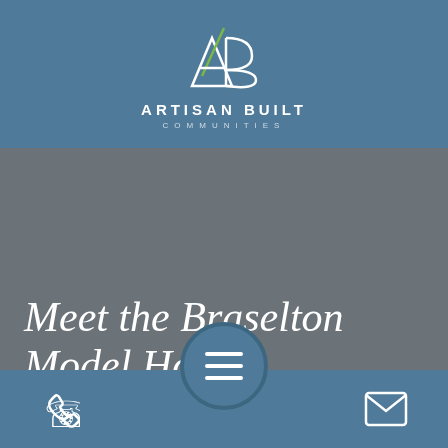[Figure (logo): Artisan Built Communities logo with stylized AB monogram and company name]
Meet the Braselton Model Home
[Figure (infographic): Hamburger menu button circle in steel blue]
Phone icon | Hamburger menu | Email icon